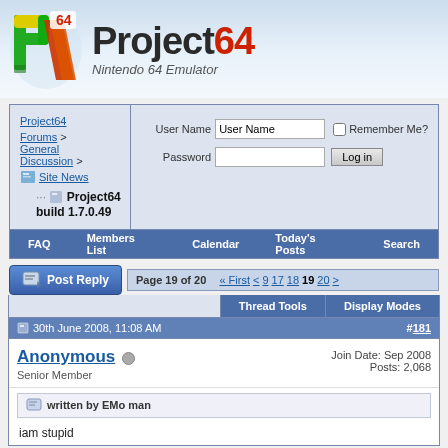[Figure (logo): Project64 Nintendo 64 Emulator logo with stylized P64 icon and text]
| Nav |
| --- |
| FAQ | Members List | Calendar | Today's Posts | Search |
Project64 Forums > General Discussion > Site News
...Project64 build 1.7.0.49
User Name | Password | Remember Me? | Log in
Post Reply | Page 19 of 20 | « First | < | 9 | 17 | 18 | 19 | 20 | >
Thread Tools | Display Modes
30th June 2008, 11:08 AM  #181
Anonymous
Senior Member
Join Date: Sep 2008
Posts: 2,068
written by EMo man
iam stupid